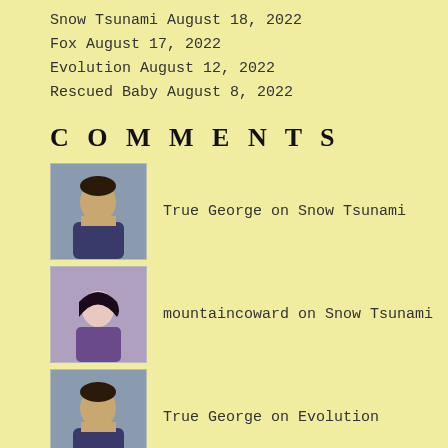Snow Tsunami August 18, 2022
Fox August 17, 2022
Evolution August 12, 2022
Rescued Baby August 8, 2022
COMMENTS
True George on Snow Tsunami
mountaincoward on Snow Tsunami
True George on Evolution
mountaincoward on Evolution
John Jr on Vanquishing